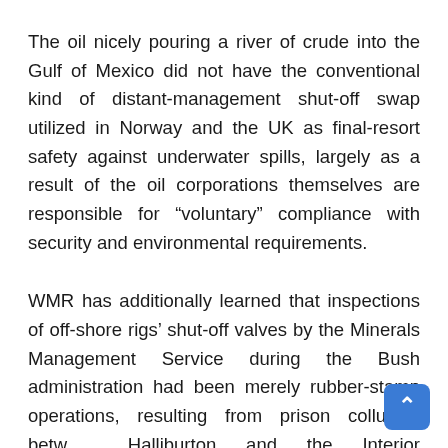The oil nicely pouring a river of crude into the Gulf of Mexico did not have the conventional kind of distant-management shut-off swap utilized in Norway and the UK as final-resort safety against underwater spills, largely as a result of the oil corporations themselves are responsible for “voluntary” compliance with security and environmental requirements.
WMR has additionally learned that inspections of off-shore rigs’ shut-off valves by the Minerals Management Service during the Bush administration had been merely rubber-stamp operations, resulting from prison collusion betw... Halliburton and the Interior Department’s service,